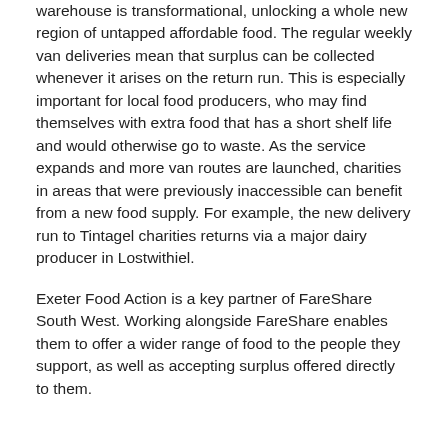warehouse is transformational, unlocking a whole new region of untapped affordable food. The regular weekly van deliveries mean that surplus can be collected whenever it arises on the return run. This is especially important for local food producers, who may find themselves with extra food that has a short shelf life and would otherwise go to waste. As the service expands and more van routes are launched, charities in areas that were previously inaccessible can benefit from a new food supply. For example, the new delivery run to Tintagel charities returns via a major dairy producer in Lostwithiel.
Exeter Food Action is a key partner of FareShare South West. Working alongside FareShare enables them to offer a wider range of food to the people they support, as well as accepting surplus offered directly to them.